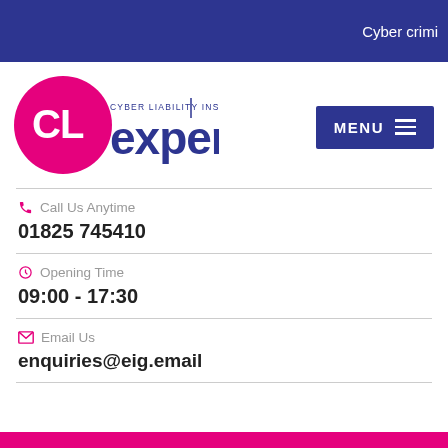Cyber crimi
[Figure (logo): CL Expert - Cyber Liability Insurance logo with pink circle and stylized text]
MENU
Call Us Anytime
01825 745410
Opening Time
09:00 - 17:30
Email Us
enquiries@eig.email